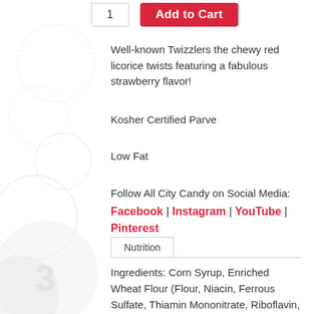Well-known Twizzlers the chewy red licorice twists featuring a fabulous strawberry flavor!
Kosher Certified Parve
Low Fat
Follow All City Candy on Social Media:
Facebook | Instagram | YouTube | Pinterest
Nutrition
Ingredients: Corn Syrup, Enriched Wheat Flour (Flour, Niacin, Ferrous Sulfate, Thiamin Mononitrate, Riboflavin, Folic Acid), Sugar, Cornstarch, Contains 2% or Less of: Palm Oil, Salt, Artificial Flavor, Mono- and